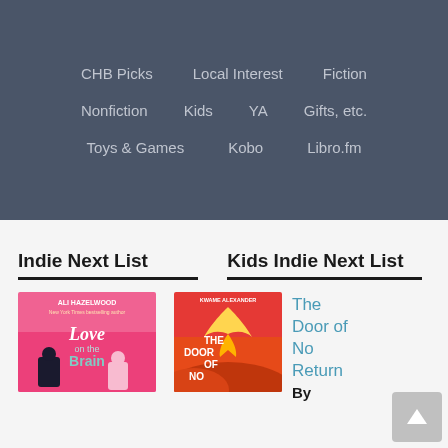CHB Picks
Local Interest
Fiction
Nonfiction
Kids
YA
Gifts, etc.
Toys & Games
Kobo
Libro.fm
Indie Next List
Kids Indie Next List
[Figure (illustration): Book cover: Love on the Brain by Ali Hazelwood, pink cover with illustrated characters]
[Figure (illustration): Book cover: The Door of No Return by Kwame Alexander, orange/red cover with a bird]
The Door of No Return
By